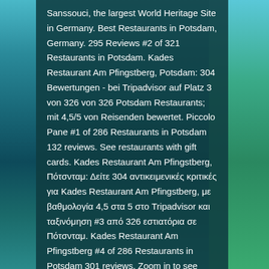Sanssouci, the largest World Heritage Site in Germany. Best Restaurants in Potsdam, Germany. 295 Reviews #2 of 321 Restaurants in Potsdam. Kades Restaurant Am Pfingstberg, Potsdam: 304 Bewertungen - bei Tripadvisor auf Platz 3 von 326 von 326 Potsdam Restaurants; mit 4,5/5 von Reisenden bewertet. Piccolo Pane #1 of 286 Restaurants in Potsdam 132 reviews. See restaurants with gift cards. Kades Restaurant Am Pfingstberg, Πότσνταμ: Δείτε 304 αντικειμενικές κριτικές για Kades Restaurant Am Pfingstberg, με βαθμολογία 4,5 στα 5 στο Tripadvisor και ταξινόμηση #3 από 326 εστιατόρια σε Πότσνταμ. Kades Restaurant Am Pfingstberg #4 of 286 Restaurants in Potsdam 301 reviews. Zoom in to see updated info. Benkertstr. Park Babelsberg 9